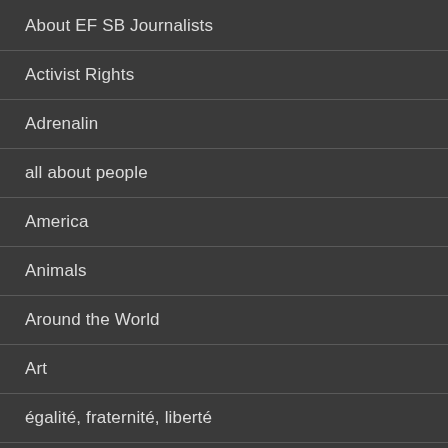About EF SB Journalists
Activist Rights
Adrenalin
all about people
America
Animals
Around the World
Art
égalité, fraternité, liberté